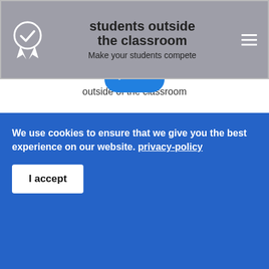students outside the classroom — Make your students compete outside of the classroom
[Figure (illustration): Blue game controller icon with a plus button and two circular buttons]
Excitement in the classroom
Students can also compare their knowledge with quiz games in the classroom
We use cookies to ensure that we give you the best experience on our website. privacy-policy
I accept